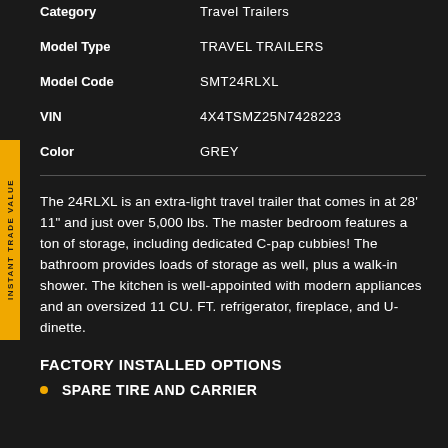| Field | Value |
| --- | --- |
| Category | Travel Trailers |
| Model Type | TRAVEL TRAILERS |
| Model Code | SMT24RLXL |
| VIN | 4X4TSMZ25N7428223 |
| Color | GREY |
The 24RLXL is an extra-light travel trailer that comes in at 28' 11" and just over 5,000 lbs. The master bedroom features a ton of storage, including dedicated C-pap cubbies! The bathroom provides loads of storage as well, plus a walk-in shower. The kitchen is well-appointed with modern appliances and an oversized 11 CU. FT. refrigerator, fireplace, and U-dinette.
FACTORY INSTALLED OPTIONS
SPARE TIRE AND CARRIER